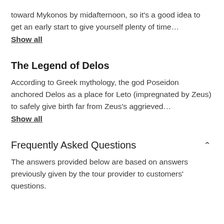toward Mykonos by midafternoon, so it's a good idea to get an early start to give yourself plenty of time…
Show all
The Legend of Delos
According to Greek mythology, the god Poseidon anchored Delos as a place for Leto (impregnated by Zeus) to safely give birth far from Zeus's aggrieved…
Show all
Frequently Asked Questions
The answers provided below are based on answers previously given by the tour provider to customers' questions.